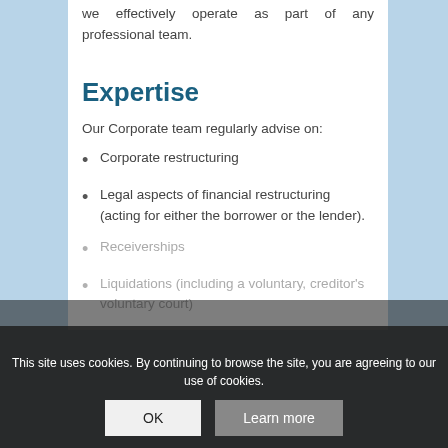we effectively operate as part of any professional team.
Expertise
Our Corporate team regularly advise on:
Corporate restructuring
Legal aspects of financial restructuring (acting for either the borrower or the lender).
Receiverships
Liquidations (including a voluntary, creditor's voluntary court)
This site uses cookies. By continuing to browse the site, you are agreeing to our use of cookies.